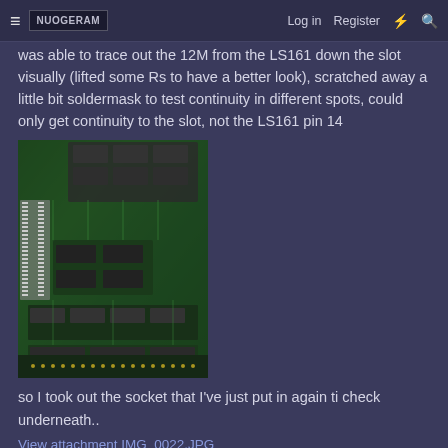≡  NUOGERAM  Log in  Register  ⚡  🔍
was able to trace out the 12M from the LS161 down the slot visually (lifted some Rs to have a better look), scratched away a little bit soldermask to test continuity in different spots, could only get continuity to the slot, not the LS161 pin 14
[Figure (photo): Close-up photo of a green circuit board (PCB) showing various ICs, capacitors, chips and solder connections.]
so I took out the socket that I've just put in again ti check underneath..
View attachment IMG_0022.JPG